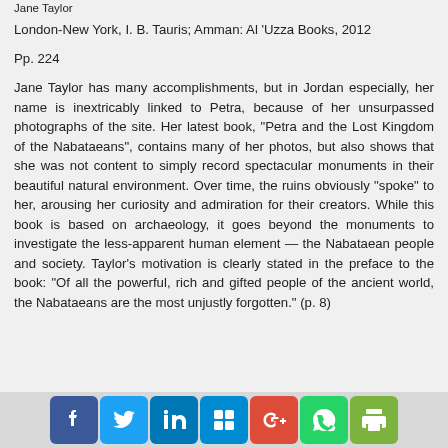Jane Taylor
London-New York, I. B. Tauris; Amman: Al 'Uzza Books, 2012
Pp. 224
Jane Taylor has many accomplishments, but in Jordan especially, her name is inextricably linked to Petra, because of her unsurpassed photographs of the site. Her latest book, “Petra and the Lost Kingdom of the Nabataeans”, contains many of her photos, but also shows that she was not content to simply record spectacular monuments in their beautiful natural environment. Over time, the ruins obviously “spoke” to her, arousing her curiosity and admiration for their creators. While this book is based on archaeology, it goes beyond the monuments to investigate the less-apparent human element — the Nabataean people and society. Taylor’s motivation is clearly stated in the preface to the book: “Of all the powerful, rich and gifted people of the ancient world, the Nabataeans are the most unjustly forgotten.” (p. 8)